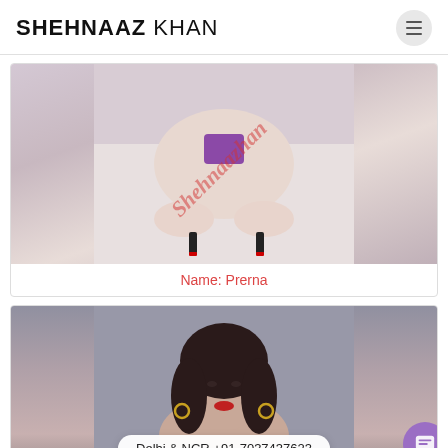SHEHNAAZ KHAN
[Figure (photo): Person in purple swimwear posing on a bed, seen from behind, wearing high heels. Red watermark text 'Shehnaazkan' diagonally across the image.]
Name: Prerna
[Figure (photo): Portrait photo of a woman with dark hair, wearing hoop earrings and red lipstick. Overlay banner showing 'Delhi & NCR +91-7037437623'. Purple chat button in bottom right corner.]